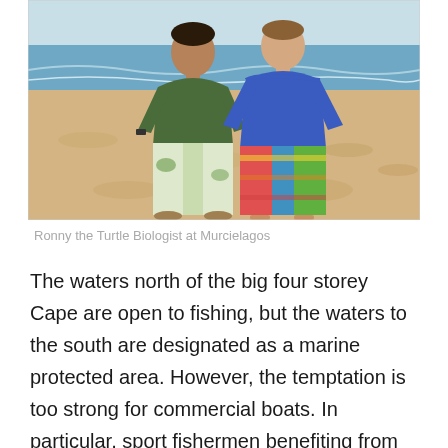[Figure (photo): Two men standing on a sandy beach. The man on the left wears a dark green t-shirt and patterned pants. The man on the right wears a blue long-sleeve shirt and colorful striped board shorts. Ocean waves visible in the background.]
Ronny the Turtle Biologist at Murcielagos
The waters north of the big four storey Cape are open to fishing, but the waters to the south are designated as a marine protected area. However, the temptation is too strong for commercial boats. In particular, sport fishermen benefiting from the lucrative tourism business take advantage of their superior boats. Nearly every day we saw lines being trolled behind boats flagrantly. They are going the wrong way at twice in their direction